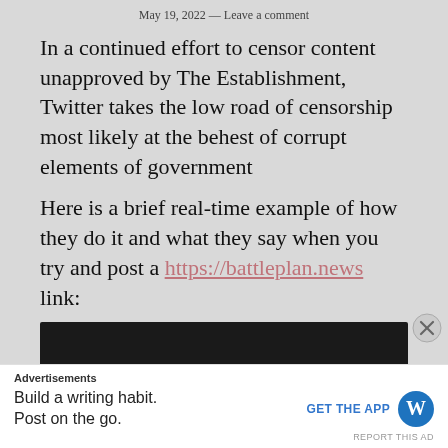May 19, 2022 — Leave a comment
In a continued effort to censor content unapproved by The Establishment, Twitter takes the low road of censorship most likely at the behest of corrupt elements of government
Here is a brief real-time example of how they do it and what they say when you try and post a https://battleplan.news link:
[Figure (screenshot): Black/dark screenshot placeholder image]
Advertisements
Build a writing habit. Post on the go.
GET THE APP